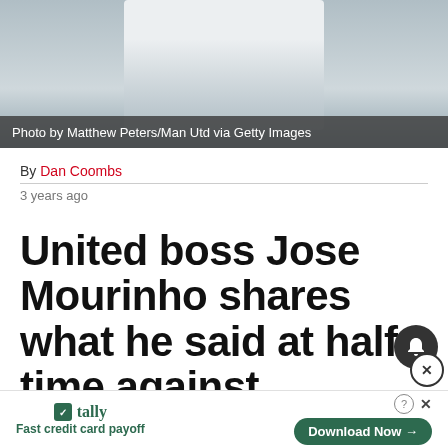[Figure (photo): Photo of a person wearing a white shirt, cropped — sports/football context]
Photo by Matthew Peters/Man Utd via Getty Images
By Dan Coombs
3 years ago
United boss Jose Mourinho shares what he said at half-time against Bournemouth
[Figure (infographic): Tally advertisement: Fast credit card payoff — Download Now button]